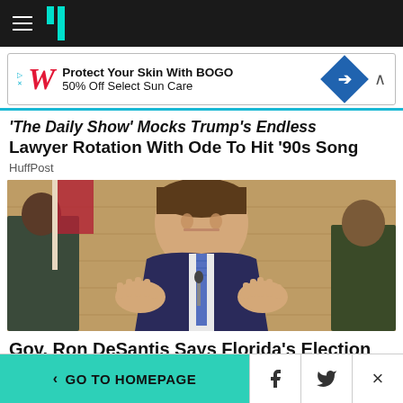HuffPost navigation bar with hamburger menu and logo
[Figure (screenshot): Walgreens advertisement banner: Protect Your Skin With BOGO 50% Off Select Sun Care]
'The Daily Show' Mocks Trump's Endless Lawyer Rotation With Ode To Hit '90s Song
HuffPost
[Figure (photo): Photo of Gov. Ron DeSantis in a dark blue suit with striped tie, gesturing with both hands, speaking at a press conference with an American flag in the background]
Gov. Ron DeSantis Says Florida's Election
< GO TO HOMEPAGE | Facebook share | Twitter share | Close